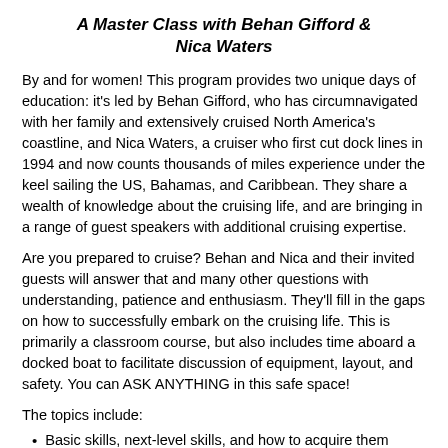A Master Class with Behan Gifford & Nica Waters
By and for women! This program provides two unique days of education: it's led by Behan Gifford, who has circumnavigated with her family and extensively cruised North America's coastline, and Nica Waters, a cruiser who first cut dock lines in 1994 and now counts thousands of miles experience under the keel sailing the US, Bahamas, and Caribbean. They share a wealth of knowledge about the cruising life, and are bringing in a range of guest speakers with additional cruising expertise.
Are you prepared to cruise? Behan and Nica and their invited guests will answer that and many other questions with understanding, patience and enthusiasm. They'll fill in the gaps on how to successfully embark on the cruising life. This is primarily a classroom course, but also includes time aboard a docked boat to facilitate discussion of equipment, layout, and safety. You can ASK ANYTHING in this safe space!
The topics include:
Basic skills, next-level skills, and how to acquire them